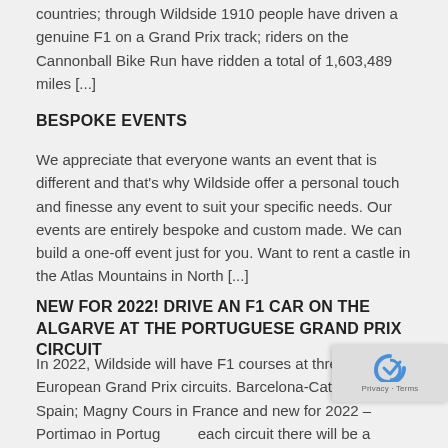countries; through Wildside 1910 people have driven a genuine F1 on a Grand Prix track; riders on the Cannonball Bike Run have ridden a total of 1,603,489 miles [...]
BESPOKE EVENTS
We appreciate that everyone wants an event that is different and that's why Wildside offer a personal touch and finesse any event to suit your specific needs. Our events are entirely bespoke and custom made. We can build a one-off event just for you. Want to rent a castle in the Atlas Mountains in North [...]
NEW FOR 2022! DRIVE AN F1 CAR ON THE ALGARVE AT THE PORTUGUESE GRAND PRIX CIRCUIT
In 2022, Wildside will have F1 courses at three European Grand Prix circuits. Barcelona-Catalunya in Spain; Magny Cours in France and new for 2022 – Portimao in Portugal. At each circuit there will be a choice of F1 cars to drive and each one has raced in the World Championship. Make a severe dent in [...]